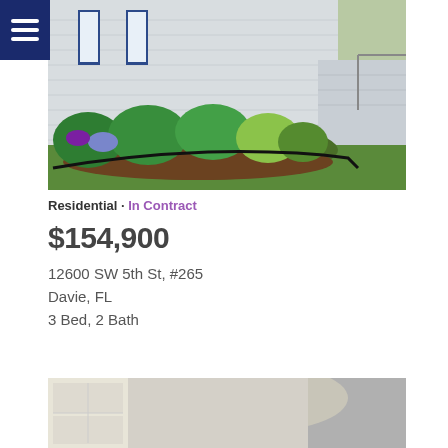Navigation menu
[Figure (photo): Exterior photo of a white/grey residential home with blue window shutters, landscaped garden bed with green and flowering plants, green lawn, and walkway visible.]
Residential · In Contract
$154,900
12600 SW 5th St, #265
Davie, FL
3 Bed, 2 Bath
[Figure (photo): Interior photo of a white kitchen with cabinets and recessed ceiling lighting, partial view showing ceiling and upper cabinets.]